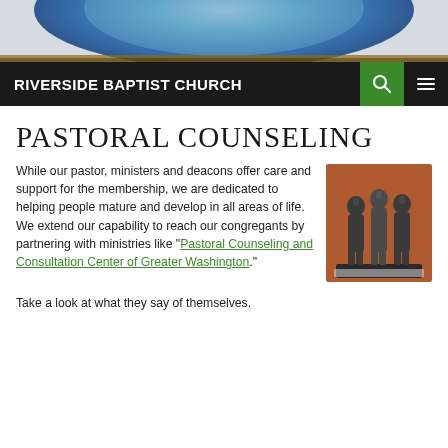[Figure (photo): Stained glass mosaic header image showing circular blue and gold pattern]
RIVERSIDE BAPTIST CHURCH
PASTORAL COUNSELING
While our pastor, ministers and deacons offer care and support for the membership, we are dedicated to helping people mature and develop in all areas of life. We extend our capability to reach our congregants by partnering with ministries like “Pastoral Counseling and Consultation Center of Greater Washington.”
[Figure (photo): Bronze sculpture of three abstract human figures standing together]
Take a look at what they say of themselves.